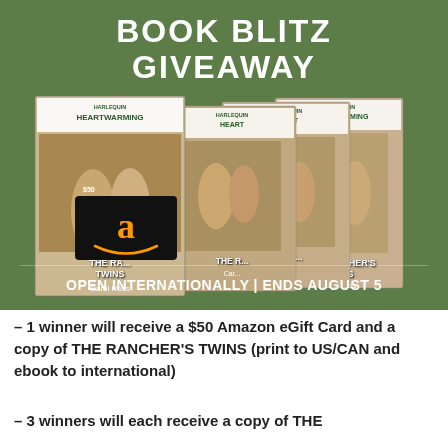[Figure (infographic): Book Blitz Giveaway promotional banner with green background showing multiple copies of 'The Rancher's Twins' by Carol Ross (Harlequin Heartwarming) and an Amazon $50 gift card overlay. Text reads 'BOOK BLITZ GIVEAWAY' at top and 'OPEN INTERNATIONALLY | ENDS AUGUST 5' at the bottom of the banner.]
– 1 winner will receive a $50 Amazon eGift Card and a copy of THE RANCHER'S TWINS (print to US/CAN and ebook to international)
– 3 winners will each receive a copy of THE